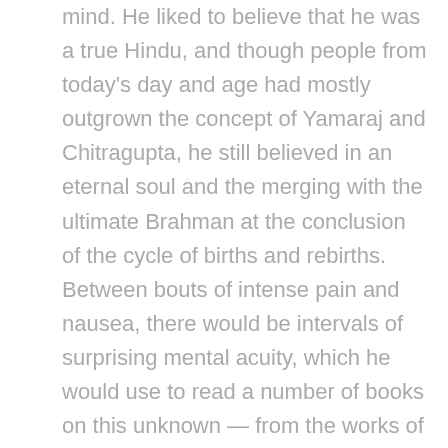mind. He liked to believe that he was a true Hindu, and though people from today's day and age had mostly outgrown the concept of Yamaraj and Chitragupta, he still believed in an eternal soul and the merging with the ultimate Brahman at the conclusion of the cycle of births and rebirths. Between bouts of intense pain and nausea, there would be intervals of surprising mental acuity, which he would use to read a number of books on this unknown — from the works of known atheists like Richard Dawkins on one hand to comprehensive summaries of how the great religions of the world look at passing away, on the other. To his surprise, the religions differed a lot in their interpretations of death and afterlife, while atheism, unsurprisingly, said there was no evidence, yet, of an afterlife — Fullstop. It seemed to him, then, that there was no